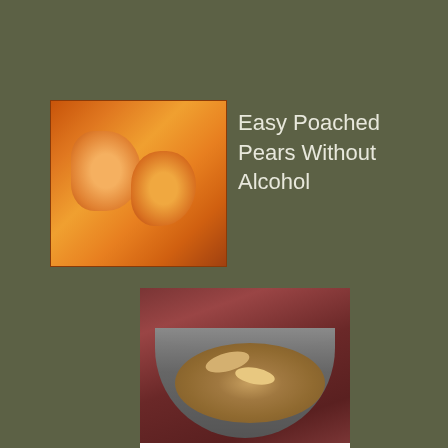[Figure (photo): Photo of pears, orange-brown colored fruits]
Easy Poached Pears Without Alcohol
[Figure (photo): Photo of a bowl filled with coins on a dark reddish surface]
If you can afford to donate a little